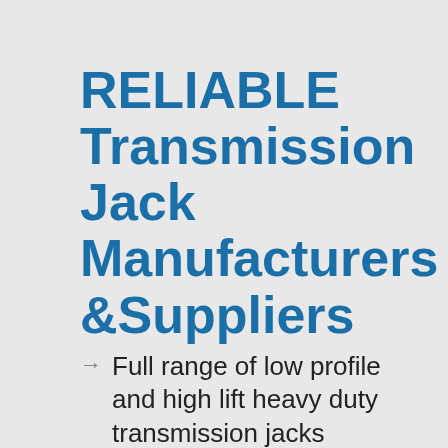RELIABLE Transmission Jack Manufacturers &Suppliers
Full range of low profile and high lift heavy duty transmission jacks